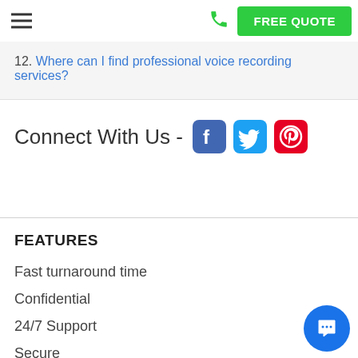FREE QUOTE
12. Where can I find professional voice recording services?
Connect With Us -
FEATURES
Fast turnaround time
Confidential
24/7 Support
Secure